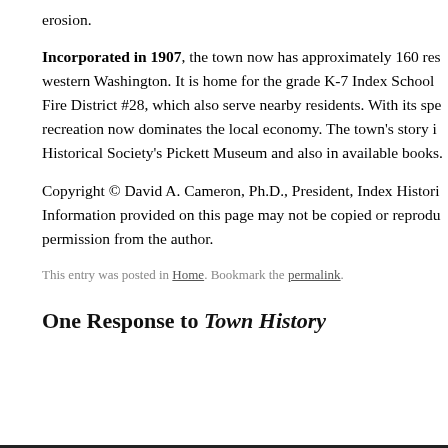erosion.
Incorporated in 1907, the town now has approximately 160 residents in western Washington. It is home for the grade K-7 Index School and Fire District #28, which also serve nearby residents. With its spectacular recreation now dominates the local economy. The town's story is told at the Historical Society's Pickett Museum and also in available books.
Copyright © David A. Cameron, Ph.D., President, Index Historical Society. Information provided on this page may not be copied or reproduced without permission from the author.
This entry was posted in Home. Bookmark the permalink.
One Response to Town History